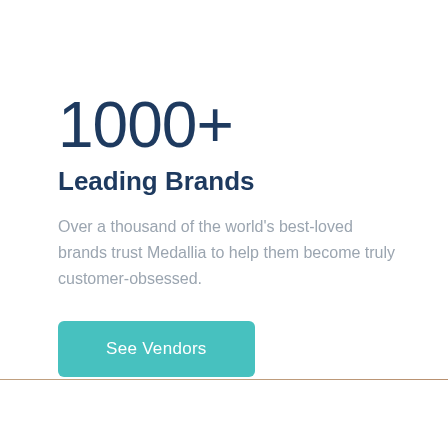1000+
Leading Brands
Over a thousand of the world's best-loved brands trust Medallia to help them become truly customer-obsessed.
See Vendors